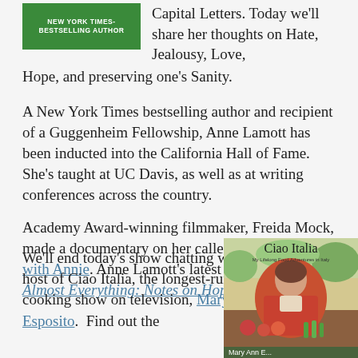[Figure (photo): Green book cover with text 'NEW YORK TIMES-BESTSELLING AUTHOR' in white capitals on green background]
Capital Letters. Today we'll share her thoughts on Hate, Jealousy, Love, Hope, and preserving one's Sanity.
A New York Times bestselling author and recipient of a Guggenheim Fellowship, Anne Lamott has been inducted into the California Hall of Fame. She's taught at UC Davis, as well as at writing conferences across the country.
Academy Award-winning filmmaker, Freida Mock, made a documentary on her called Bird by Bird with Annie. Anne Lamott's latest book of essays is Almost Everything: Notes on Hope.
We'll end today's show chatting with the host of Ciao Italia, the longest-running cooking show on television, Mary Ann Esposito.  Find out the
[Figure (photo): Book cover of 'Ciao Italia: My Lifelong Food Adventures in Italy' by Mary Ann Esposito showing a woman in red jacket at a kitchen table with vegetables]